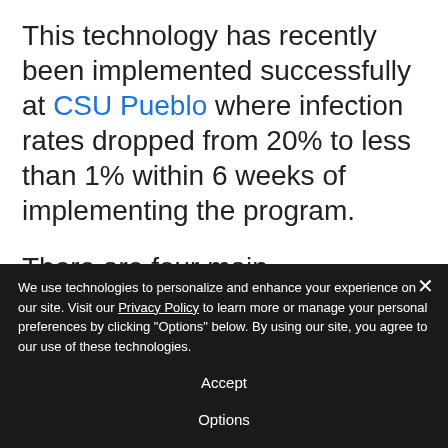This technology has recently been implemented successfully at CSU Pueblo where infection rates dropped from 20% to less than 1% within 6 weeks of implementing the program.
There are four main components to the SB2S program:
Smart badge
We use technologies to personalize and enhance your experience on our site. Visit our Privacy Policy to learn more or manage your personal preferences by clicking "Options" below. By using our site, you agree to our use of these technologies.